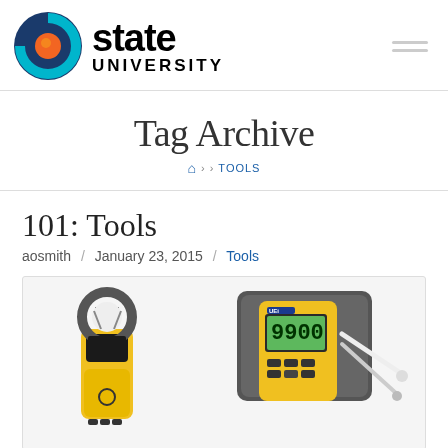[Figure (logo): State University logo with circular swirl graphic in blue, teal, and orange, followed by 'state UNIVERSITY' text in bold black]
Tag Archive
Home > TOOLS breadcrumb navigation
101: Tools
aosmith / January 23, 2015 / Tools
[Figure (photo): Photo showing two electrical/HVAC diagnostic tools: a yellow clamp meter on the left and a yellow/grey UEI digital manometer with carrying case on the right]